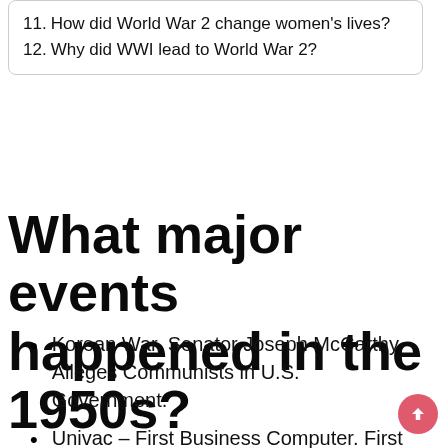11. How did World War 2 change women's lives?
12. Why did WWI lead to World War 2?
What major events happened in the 1950s?
Korean War. Senator Joseph McCarthy Alleges Communists in U.S. Government.
Univac – First Business Computer. First U.S. Transcontinental Television Transmission